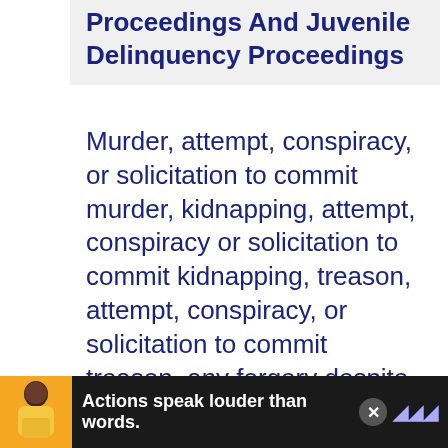Proceedings And Juvenile Delinquency Proceedings
Murder, attempt, conspiracy, or solicitation to commit murder, kidnapping, attempt, conspiracy or solicitation to commit kidnapping, treason, attempt, conspiracy, or solicitation to commit treason, any forgery despite the given penalty, attempt, conspiracy or solicitation to commit any forgery
[Figure (other): Advertisement banner: person in yellow shirt with text 'Actions speak louder than words.' on dark background with close button and logo]